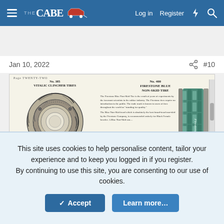THE CABE — Log in  Register
Jan 10, 2022  #10
[Figure (illustration): Vintage Firestone tire catalog page showing No. 385 Vitalic Clincher Tires (cross-section illustration) and No. 400 Firestone Blue Non-Skid Tire with product description text and a teal-colored tire photograph. Page labeled Page TWENTY-TWO.]
This site uses cookies to help personalise content, tailor your experience and to keep you logged in if you register. By continuing to use this site, you are consenting to our use of cookies.